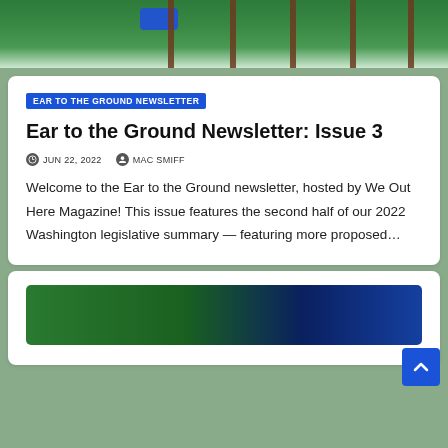[Figure (photo): Aerial or close-up photo of green crop rows with wooden fence posts; a blue button/badge visible in upper left area]
EAR TO THE GROUND NEWSLETTER
Ear to the Ground Newsletter: Issue 3
JUN 22, 2022   MAC SMIFF
Welcome to the Ear to the Ground newsletter, hosted by We Out Here Magazine! This issue features the second half of our 2022 Washington legislative summary — featuring more proposed…
[Figure (photo): Partial bottom card showing a photo with green and blue tones — crops or landscape scene]